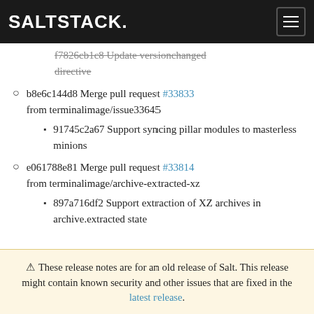SALTSTACK
f7826cb1c8 Update versionchanged directive (strikethrough)
b8e6c144d8 Merge pull request #33833 from terminalimage/issue33645
91745c2a67 Support syncing pillar modules to masterless minions
e061788e81 Merge pull request #33814 from terminalimage/archive-extracted-xz
897a716df2 Support extraction of XZ archives in archive.extracted state
⚠ These release notes are for an old release of Salt. This release might contain known security and other issues that are fixed in the latest release.